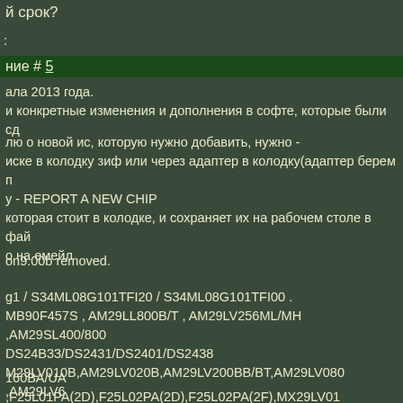й срок?
:
ние # 5
ала 2013 года.
и конкретные изменения и дополнения в софте, которые были сд
лю о новой ис, которую нужно добавить, нужно -
иске в колодку зиф или через адаптер в колодку(адаптер берем п
y - REPORT A NEW CHIP
которая стоит в колодке, и сохраняет их на рабочем столе в фай
о на емейл
on9.00b removed.
g1 / S34ML08G101TFI20 / S34ML08G101TFI00 .
MB90F457S , AM29LL800B/T , AM29LV256ML/MH ,AM29SL400/800
DS24B33/DS2431/DS2401/DS2438
M29LV010B,AM29LV020B,AM29LV200BB/BT,AM29LV080 ,AM29LV6
160BA/UA ,F25L01PA(2D),F25L02PA(2D),F25L02PA(2F),MX29LV01